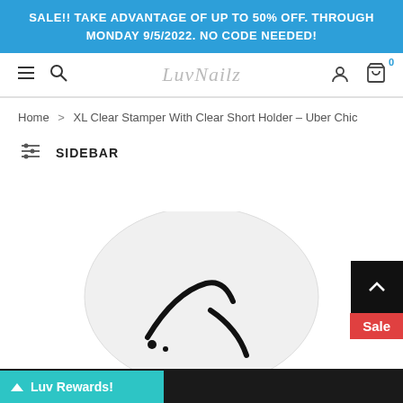SALE!! TAKE ADVANTAGE OF UP TO 50% OFF. THROUGH MONDAY 9/5/2022. NO CODE NEEDED!
LuvNailz (logo/navigation bar)
Home > XL Clear Stamper With Clear Short Holder - Uber Chic
SIDEBAR
[Figure (screenshot): XL Clear Stamper product image - circular clear stamper with dark design visible, partially cropped at bottom of page]
Sale
Luv Rewards!